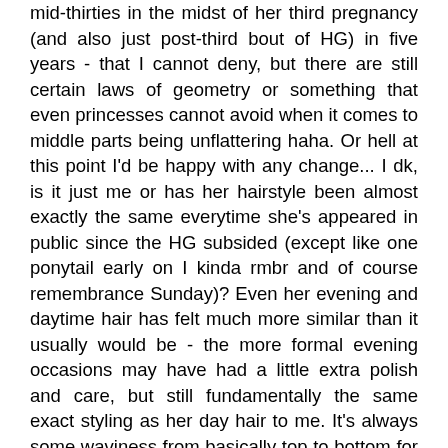mid-thirties in the midst of her third pregnancy (and also just post-third bout of HG) in five years - that I cannot deny, but there are still certain laws of geometry or something that even princesses cannot avoid when it comes to middle parts being unflattering haha. Or hell at this point I'd be happy with any change... I dk, is it just me or has her hairstyle been almost exactly the same everytime she's appeared in public since the HG subsided (except like one ponytail early on I kinda rmbr and of course remembrance Sunday)? Even her evening and daytime hair has felt much more similar than it usually would be - the more formal evening occasions may have had a little extra polish and care, but still fundamentally the same exact styling as her day hair to me. It's always some waviness from basically top to bottom for the hair that frames her face on either side, and then the back hair being more flat and straight until near the bottom where a layer of curls/waves begins. Also no volume at the crown like she used to have before when styled, and of course, the dreaded middle